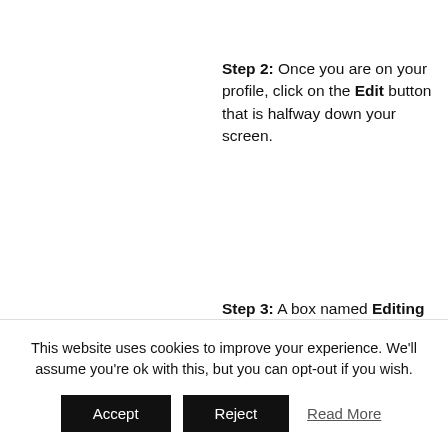Step 2: Once you are on your profile, click on the Edit button that is halfway down your screen.
Step 3: A box named Editing 'Base' Profile Group will appear. You can update your Name,
This website uses cookies to improve your experience. We'll assume you're ok with this, but you can opt-out if you wish.
Accept  Reject  Read More